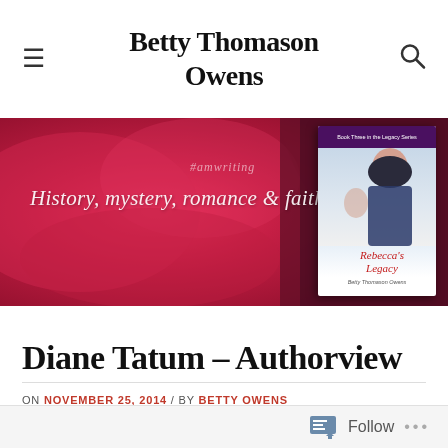Betty Thomason Owens
[Figure (illustration): Blog header banner with pink/red rose background, italic script text reading '#amwriting' and 'History, mystery, romance & faith', with a book cover for 'Rebecca's Legacy' by Betty Thomason Owens on the right side.]
Diane Tatum – Authorview
ON NOVEMBER 25, 2014 / BY BETTY OWENS
Follow